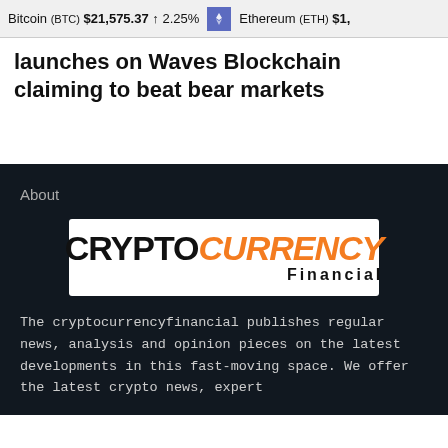Bitcoin (BTC) $21,575.37 ↑ 2.25%   Ethereum (ETH) $1,…
launches on Waves Blockchain claiming to beat bear markets
About
[Figure (logo): CryptoCurrency Financial logo — CRYPTO in black bold, CURRENCY in orange italic bold, Financial in black below]
The cryptocurrencyfinancial publishes regular news, analysis and opinion pieces on the latest developments in this fast-moving space. We offer the latest crypto news, expert